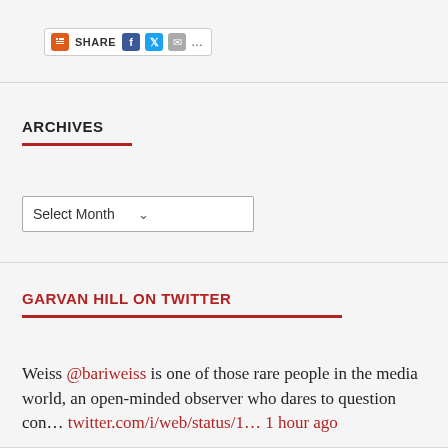[Figure (screenshot): Share bar with social media icons (Facebook, Twitter, email) and a plus icon]
ARCHIVES
[Figure (screenshot): Select Month dropdown menu]
GARVAN HILL ON TWITTER
Weiss @bariweiss is one of those rare people in the media world, an open-minded observer who dares to question con… twitter.com/i/web/status/1… 1 hour ago